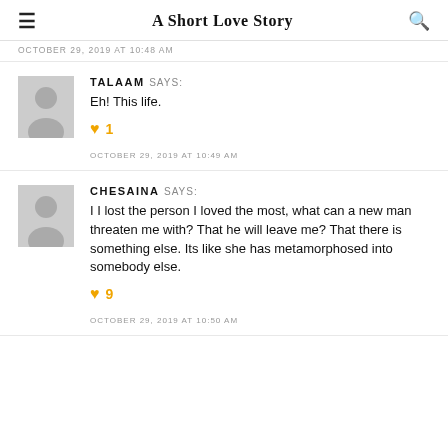A Short Love Story
OCTOBER 29, 2019 AT 10:48 AM
TALAAM SAYS:
Eh! This life.
♥ 1
OCTOBER 29, 2019 AT 10:49 AM
CHESAINA SAYS:
I I lost the person I loved the most, what can a new man threaten me with? That he will leave me? That there is something else. Its like she has metamorphosed into somebody else.
♥ 9
OCTOBER 29, 2019 AT 10:50 AM